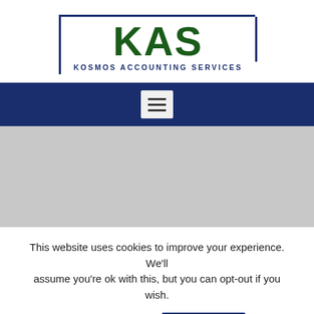[Figure (logo): KAS Kosmos Accounting Services logo — large green KAS letters inside a dark navy partial border frame, with 'KOSMOS ACCOUNTING SERVICES' subtitle in navy below]
[Figure (screenshot): Dark navy navigation bar with a hamburger menu button (three horizontal lines on light gray background)]
[Figure (photo): Large gray placeholder content area (no visible content)]
This website uses cookies to improve your experience. We'll assume you're ok with this, but you can opt-out if you wish.
Cookie settings   ACCEPT